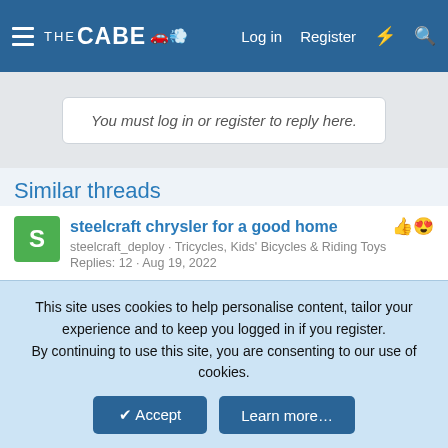THE CABE  Log in  Register
You must log in or register to reply here.
Similar threads
steelcraft chrysler for a good home
steelcraft_deploy · Tricycles, Kids' Bicycles & Riding Toys
Replies: 12 · Aug 19, 2022
Schwinn FantaRams Horn Fastback
This site uses cookies to help personalise content, tailor your experience and to keep you logged in if you register. By continuing to use this site, you are consenting to our use of cookies.